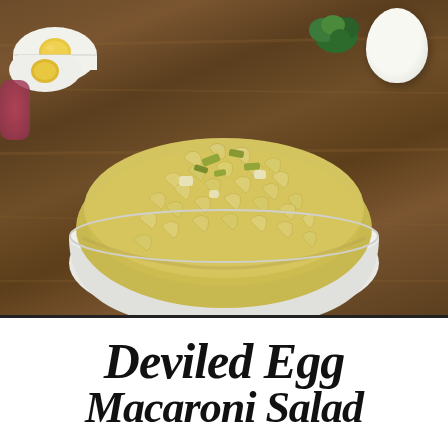[Figure (photo): A white bowl filled with deviled egg macaroni salad — elbow macaroni in a creamy yellow dressing with visible pickle pieces. Background shows hard-boiled eggs (one halved showing yolk), fresh parsley, and red onion on a wooden surface.]
Deviled Egg Macaroni Salad